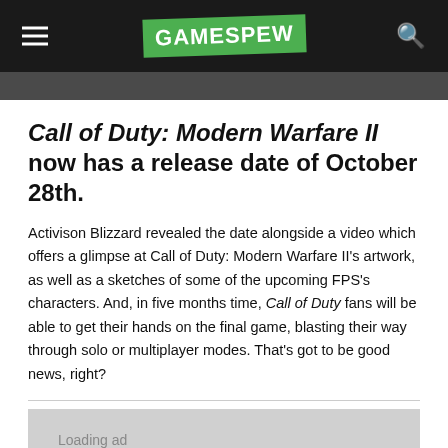GAMESPEW
[Figure (photo): Dark screenshot or image strip from a Call of Duty scene]
Call of Duty: Modern Warfare II now has a release date of October 28th.
Activison Blizzard revealed the date alongside a video which offers a glimpse at Call of Duty: Modern Warfare II’s artwork, as well as a sketches of some of the upcoming FPS’s characters. And, in five months time, Call of Duty fans will be able to get their hands on the final game, blasting their way through solo or multiplayer modes. That’s got to be good news, right?
[Figure (other): Loading ad placeholder]